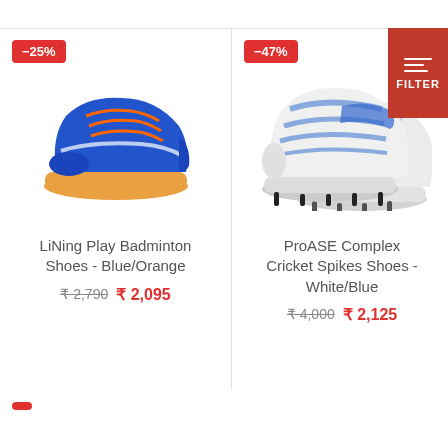[Figure (photo): LiNing Play Badminton Shoes - Blue/Orange shoe product photo with -25% discount badge]
LiNing Play Badminton Shoes - Blue/Orange
₹ 2,790  ₹ 2,095
[Figure (photo): ProASE Complex Cricket Spikes Shoes - White/Blue product photo with -47% discount badge]
ProASE Complex Cricket Spikes Shoes - White/Blue
₹ 4,000  ₹ 2,125